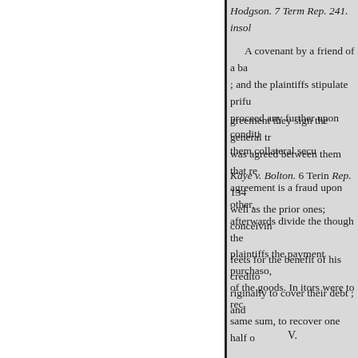Hodgson. 7 Term Rep. 241. insol
A covenant by a friend of a ba ; and the plaintiffs stipulate prifu proceed any further upon conditi them collateral secu
Kaye v. Bolton. 6 Terin Rep. 134 well as the prior ones; conceivin feets for the benefit of his credito riginally to cover their debt ; and
V.
greement they sign the general tr was agreed between them that re agreement is a fraud upon other, afterwards divide the though the plaintiffs the payment purchaso, of the goods. In itors were to rec same sum, to recover one half o